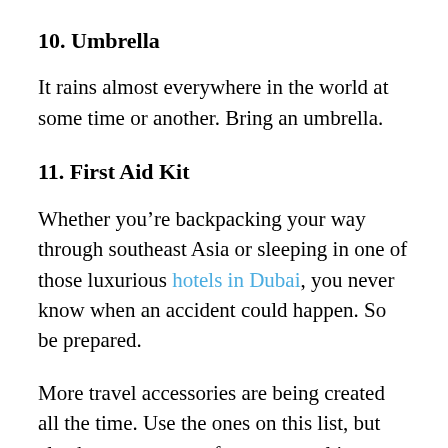10. Umbrella
It rains almost everywhere in the world at some time or another. Bring an umbrella.
11. First Aid Kit
Whether you’re backpacking your way through southeast Asia or sleeping in one of those luxurious hotels in Dubai, you never know when an accident could happen. So be prepared.
More travel accessories are being created all the time. Use the ones on this list, but also keep an eye out for new travel items to make